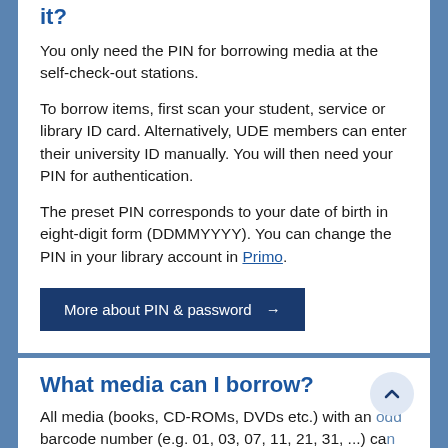it?
You only need the PIN for borrowing media at the self-check-out stations.
To borrow items, first scan your student, service or library ID card. Alternatively, UDE members can enter their university ID manually. You will then need your PIN for authentication.
The preset PIN corresponds to your date of birth in eight-digit form (DDMMYYYY). You can change the PIN in your library account in Primo.
More about PIN & password →
What media can I borrow?
All media (books, CD-ROMs, DVDs etc.) with an odd barcode number (e.g. 01, 03, 07, 11, 21, 31, ...) can be...